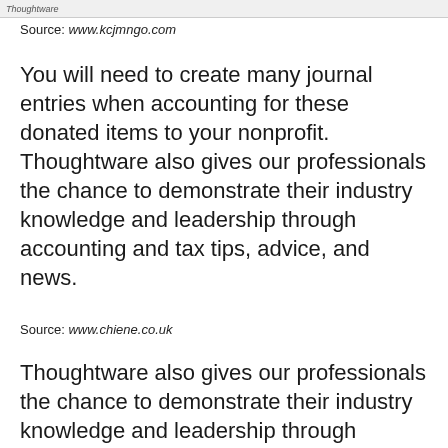[Figure (screenshot): Top bar with 'Thoughtware' logo/label and navigation bar background]
Source: www.kcjmngo.com
You will need to create many journal entries when accounting for these donated items to your nonprofit. Thoughtware also gives our professionals the chance to demonstrate their industry knowledge and leadership through accounting and tax tips, advice, and news.
Source: www.chiene.co.uk
Thoughtware also gives our professionals the chance to demonstrate their industry knowledge and leadership through accounting and tax tips, advice, and news.